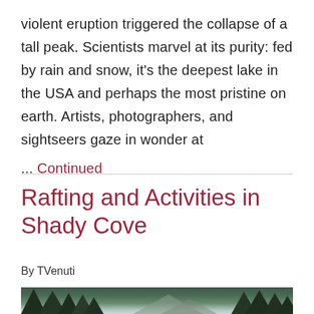violent eruption triggered the collapse of a tall peak. Scientists marvel at its purity: fed by rain and snow, it's the deepest lake in the USA and perhaps the most pristine on earth. Artists, photographers, and sightseers gaze in wonder at ... Continued
Rafting and Activities in Shady Cove
By TVenuti
[Figure (photo): Landscape photo showing forested hills with mountains in the background under a hazy sky]